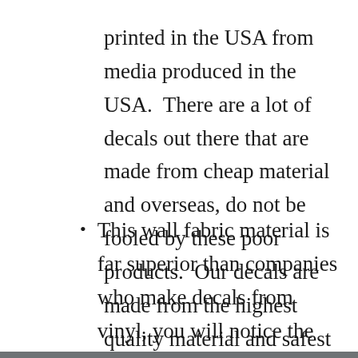printed in the USA from media produced in the USA.  There are a lot of decals out there that are made from cheap material and overseas, do not be fooled by these poor products.  Our decals are made from the highest quality material and safest for your child.
This wall fabric material is far superior than companies who make decals from vinyl, you will notice the craftsmanship and care that goes into making these decals